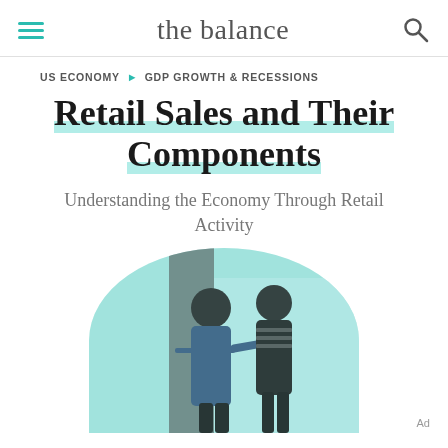the balance
US ECONOMY ▶ GDP GROWTH & RECESSIONS
Retail Sales and Their Components
Understanding the Economy Through Retail Activity
[Figure (photo): Two men standing in front of a retail store window, one pointing. The image has a teal/mint color tint in the background, shown in a semi-circle crop.]
Ad